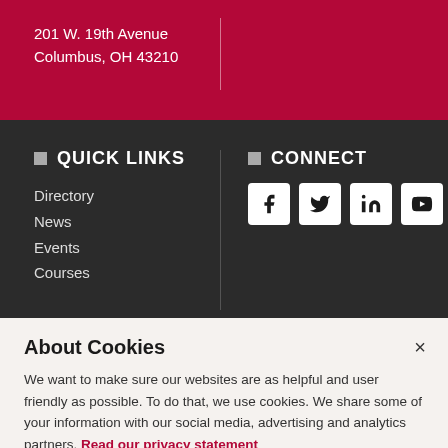201 W. 19th Avenue
Columbus, OH 43210
QUICK LINKS
Directory
News
Events
Courses
CONNECT
[Figure (infographic): Social media icons: Facebook, Twitter, LinkedIn, YouTube]
Copyright ©2022 The Ohio State University
Accessibility Policy
About Cookies
We want to make sure our websites are as helpful and user friendly as possible. To do that, we use cookies. We share some of your information with our social media, advertising and analytics partners. Read our privacy statement